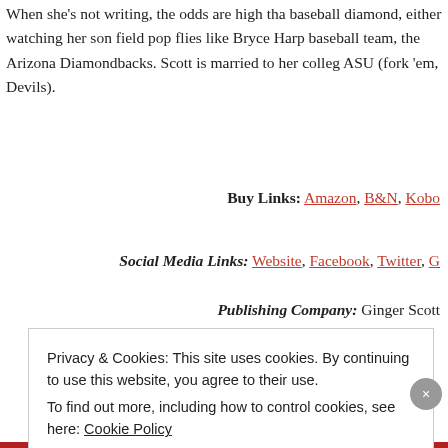When she's not writing, the odds are high that she's at a baseball diamond, either watching her son field pop flies like Bryce Harper or cheering on her favorite baseball team, the Arizona Diamondbacks. Scott is married to her college sweetheart and is a proud alum of ASU (fork 'em, Devils).
Buy Links: Amazon, B&N, Kobo
Social Media Links: Website, Facebook, Twitter, G
Publishing Company: Ginger Scott
Release Date: August 29, 2014
Genre: New Adult, Romance
Advertisements
Privacy & Cookies: This site uses cookies. By continuing to use this website, you agree to their use.
To find out more, including how to control cookies, see here: Cookie Policy
Close and accept